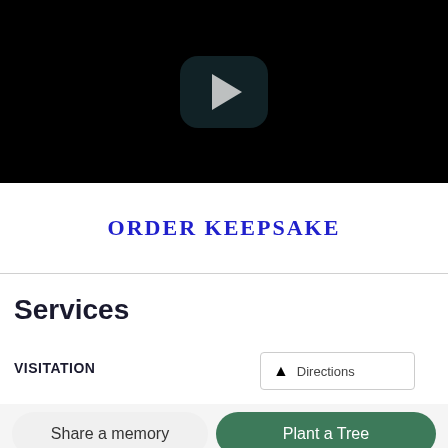[Figure (screenshot): Video player with black background and a play button (rounded rectangle with triangle icon) centered on screen]
ORDER KEEPSAKE
Services
VISITATION
Directions
Share a memory
Plant a Tree